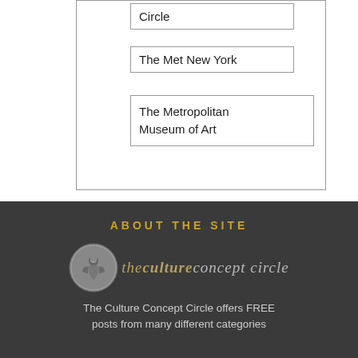| Circle |
| The Met New York |
| The Metropolitan Museum of Art |
ABOUT THE SITE
[Figure (logo): The Culture Concept Circle logo: circular medallion with classical figure on left, italic script text 'thecultureconcept circle' on right]
The Culture Concept Circle offers FREE posts from many different categories